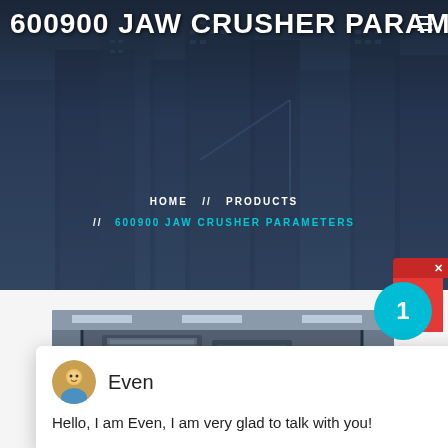[Figure (screenshot): Hero background with city building silhouettes in dark blue-grey tones]
600900 JAW CRUSHER PARAME
HOME // PRODUCTS // 600900 JAW CRUSHER PARAMETERS
[Figure (screenshot): Chat widget popup with avatar of agent named Even. Message: Hello, I am Even, I am very glad to talk with you!]
[Figure (photo): Industrial jaw crusher machinery photographed in a factory/industrial setting, showing metal framework and components]